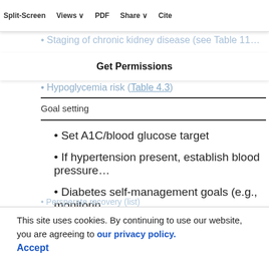Split-Screen  Views  PDF  Share  Cite
Get Permissions
Staging of chronic kidney disease (see Table 11…
Hypoglycemia risk (Table 4.3)
| Goal setting |
| --- |
| Set A1C/blood glucose target |
| If hypertension present, establish blood pressure… |
| Diabetes self-management goals (e.g., monitorin… |
This site uses cookies. By continuing to use our website, you are agreeing to our privacy policy. Accept